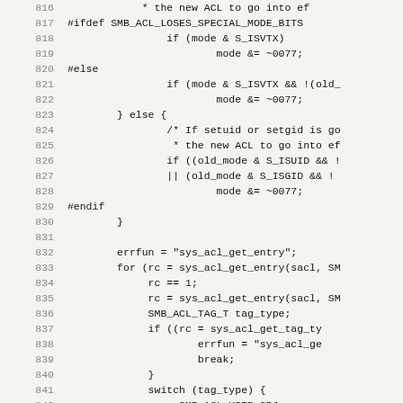[Figure (other): Source code listing (C/C++) showing lines 816-847 with line numbers on the left and code on the right, on a light beige background. The code handles ACL mode bits and uses preprocessor directives (#ifdef, #else, #endif), conditionals, and switch/case statements.]